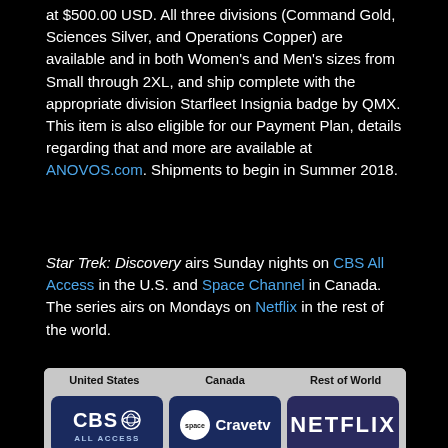at $500.00 USD. All three divisions (Command Gold, Sciences Silver, and Operations Copper) are available and in both Women's and Men's sizes from Small through 2XL, and ship complete with the appropriate division Starfleet Insignia badge by QMX. This item is also eligible for our Payment Plan, details regarding that and more are available at ANOVOS.com. Shipments to begin in Summer 2018.
Star Trek: Discovery airs Sunday nights on CBS All Access in the U.S. and Space Channel in Canada. The series airs on Mondays on Netflix in the rest of the world.
[Figure (infographic): Three streaming platform logos side by side labeled United States (CBS All Access), Canada (Space Cravetv), Rest of World (Netflix) on a gray banner background.]